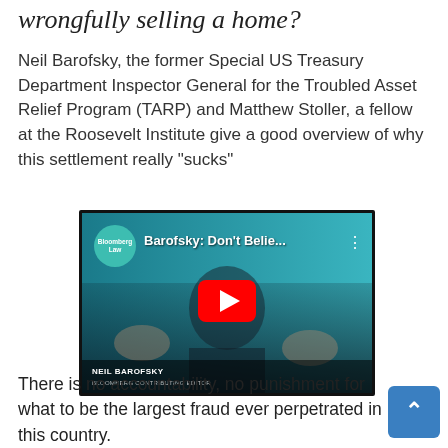wrongfully selling a home?
Neil Barofsky, the former Special US Treasury Department Inspector General for the Troubled Asset Relief Program (TARP) and Matthew Stoller, a fellow at the Roosevelt Institute give a good overview of why this settlement really “sucks”
[Figure (screenshot): YouTube video thumbnail showing Bloomberg Law video titled 'Barofsky: Don't Belie...' with a man in a suit gesturing, Neil Barofsky lower third caption showing BLOOMBERG CONTRIBUTING EDITOR, and a large red YouTube play button in the center.]
There is no accountability, no punishment for what to be the largest fraud ever perpetrated in this country.